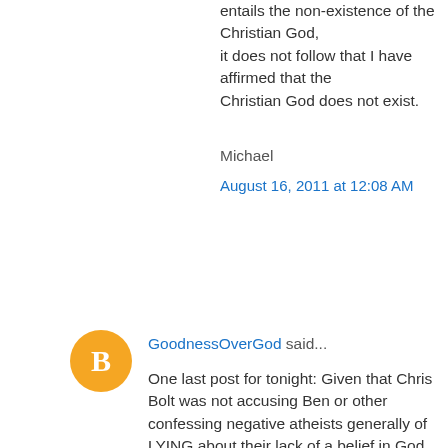entails the non-existence of the Christian God, it does not follow that I have affirmed that the Christian God does not exist.
Michael
August 16, 2011 at 12:08 AM
[Figure (illustration): Orange circular avatar with white letter B]
GoodnessOverGod said...
One last post for tonight: Given that Chris Bolt was not accusing Ben or other confessing negative atheists generally of LYING about their lack of a belief in God, but of not realizing that we believe in God (If I understand Chris correctly) we seem to be talking about some sort of 'unconscious belief'. Given that the public stands we take we take consciously, and that we can debate only consciously held propositions, the possibility that we are wrong about our (unconscious) beliefs isn't obviously relevant to a discussion that isn't specifically about the psychology of one of the participants. This is, of course, just to re-state a point that Ben already made quite clearly and